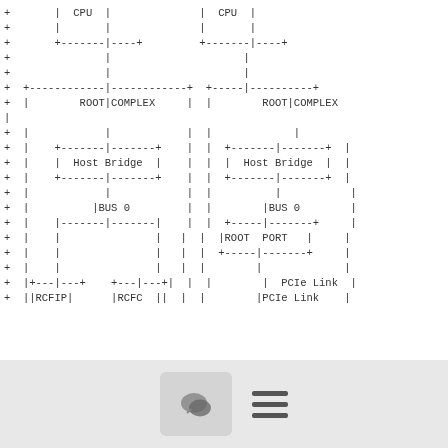[Figure (schematic): ASCII art schematic diagram of dual-CPU PCIe root complex architecture showing two CPU nodes each with Root Complex, Host Bridge, BUS 0, and associated components including ROOT PORT, RCFIP, RCFC, and PCIe Link labels connected by ASCII line art.]
[Figure (other): Bottom toolbar with chat bubble icon button and hamburger menu icon on gray background]